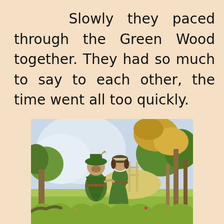Slowly they paced through the Green Wood together. They had so much to say to each other, the time went all too quickly.
[Figure (illustration): A vintage illustration showing two figures dressed in green medieval/Robin Hood-style clothing walking together in a woodland setting. A man with a green hat and a woman in a green dress with white collar are shown arm in arm, surrounded by trees with golden and green foliage.]